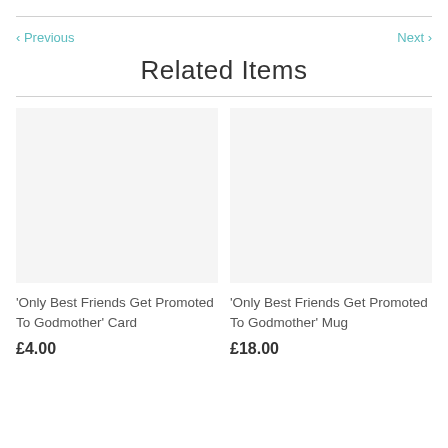< Previous    Next >
Related Items
[Figure (photo): Product image placeholder for 'Only Best Friends Get Promoted To Godmother' Card]
'Only Best Friends Get Promoted To Godmother' Card
£4.00
[Figure (photo): Product image placeholder for 'Only Best Friends Get Promoted To Godmother' Mug]
'Only Best Friends Get Promoted To Godmother' Mug
£18.00